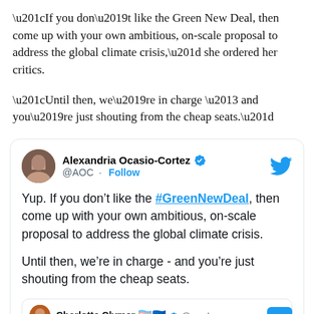“If you don’t like the Green New Deal, then come up with your own ambitious, on-scale proposal to address the global climate crisis,” she ordered her critics.
“Until then, we’re in charge – and you’re just shouting from the cheap seats.”
[Figure (screenshot): Embedded tweet from Alexandria Ocasio-Cortez (@AOC) with Twitter blue checkmark and Follow link. Tweet text: 'Yup. If you don’t like the #GreenNewDeal, then come up with your own ambitious, on-scale proposal to address the global climate crisis. Until then, we’re in charge - and you’re just shouting from the cheap seats.' With a nested reply card showing Charlotte Clymer with flags and @cmclymer handle.]